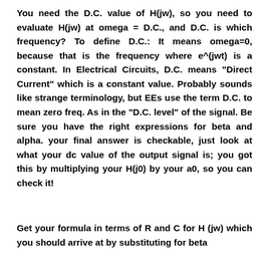You need the D.C. value of H(jw), so you need to evaluate H(jw) at omega = D.C., and D.C. is which frequency? To define D.C.: It means omega=0, because that is the frequency where e^(jwt) is a constant. In Electrical Circuits, D.C. means "Direct Current" which is a constant value. Probably sounds like strange terminology, but EEs use the term D.C. to mean zero freq. As in the "D.C. level" of the signal. Be sure you have the right expressions for beta and alpha. your final answer is checkable, just look at what your dc value of the output signal is; you got this by multiplying your H(j0) by your a0, so you can check it!
Get your formula in terms of R and C for H (jw) which you should arrive at by substituting for beta